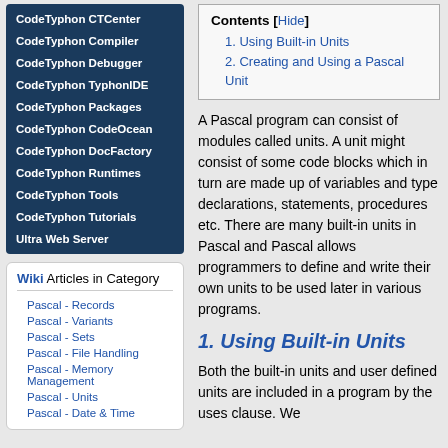CodeTyphon CTCenter
CodeTyphon Compiler
CodeTyphon Debugger
CodeTyphon TyphonIDE
CodeTyphon Packages
CodeTyphon CodeOcean
CodeTyphon DocFactory
CodeTyphon Runtimes
CodeTyphon Tools
CodeTyphon Tutorials
Ultra Web Server
Wiki Articles in Category
Pascal - Records
Pascal - Variants
Pascal - Sets
Pascal - File Handling
Pascal - Memory Management
Pascal - Units
Pascal - Date & Time
| Contents | Hide |
| --- | --- |
| 1. Using Built-in Units |  |
| 2. Creating and Using a Pascal Unit |  |
A Pascal program can consist of modules called units. A unit might consist of some code blocks which in turn are made up of variables and type declarations, statements, procedures etc. There are many built-in units in Pascal and Pascal allows programmers to define and write their own units to be used later in various programs.
1. Using Built-in Units
Both the built-in units and user defined units are included in a program by the uses clause. We